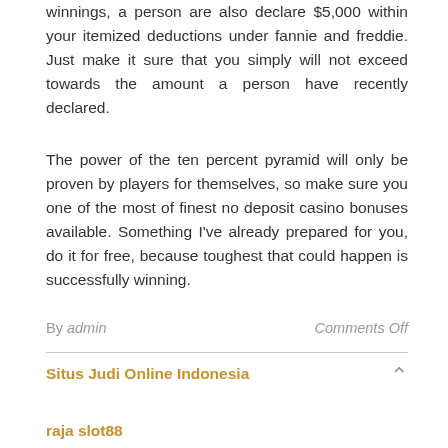winnings, a person are also declare $5,000 within your itemized deductions under fannie and freddie. Just make it sure that you simply will not exceed towards the amount a person have recently declared.
The power of the ten percent pyramid will only be proven by players for themselves, so make sure you one of the most of finest no deposit casino bonuses available. Something I've already prepared for you, do it for free, because toughest that could happen is successfully winning.
By admin                    Comments Off
Situs Judi Online Indonesia
raja slot88